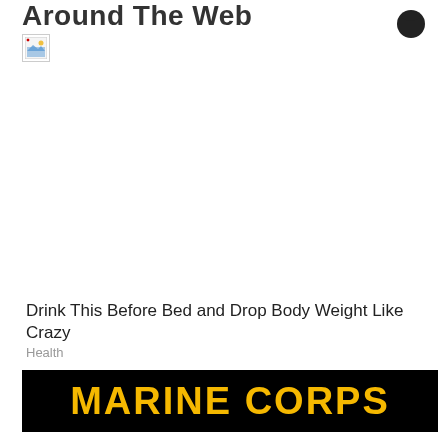Around The Web
[Figure (illustration): Broken image placeholder icon (small thumbnail with broken image symbol, green and blue colors)]
Drink This Before Bed and Drop Body Weight Like Crazy
Health
[Figure (illustration): Marine Corps banner — black background with bold yellow/gold text reading MARINE CORPS]